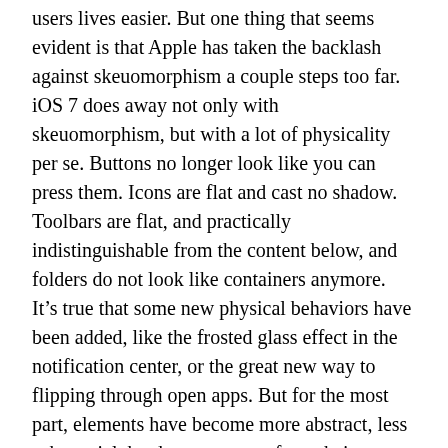users lives easier. But one thing that seems evident is that Apple has taken the backlash against skeuomorphism a couple steps too far. iOS 7 does away not only with skeuomorphism, but with a lot of physicality per se. Buttons no longer look like you can press them. Icons are flat and cast no shadow. Toolbars are flat, and practically indistinguishable from the content below, and folders do not look like containers anymore. It’s true that some new physical behaviors have been added, like the frosted glass effect in the notification center, or the great new way to flipping through open apps. But for the most part, elements have become more abstract, less substantial, harder to separate from their background, and therefore – less “real”.
Physicality, the idea that digital objects should have physical characteristics so that they can be interacted with physically, is older than even the Graphic User